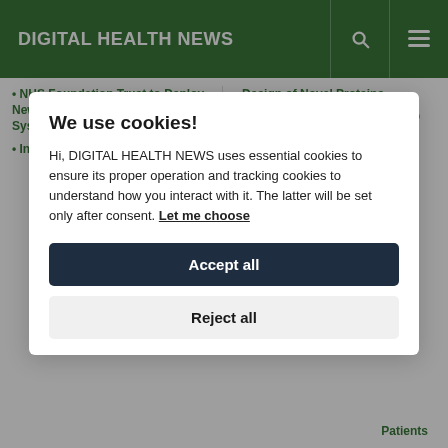DIGITAL HEALTH NEWS
NHS Foundation Trust to Deploy New Laboratory Information System from CliniSys
Insilico Medicine Raises
Design of Novel Proteins
Using Smartphones could Help Improve Memory Skills
Latest Conferences
Patients
We use cookies!
Hi, DIGITAL HEALTH NEWS uses essential cookies to ensure its proper operation and tracking cookies to understand how you interact with it. The latter will be set only after consent. Let me choose
Accept all
Reject all